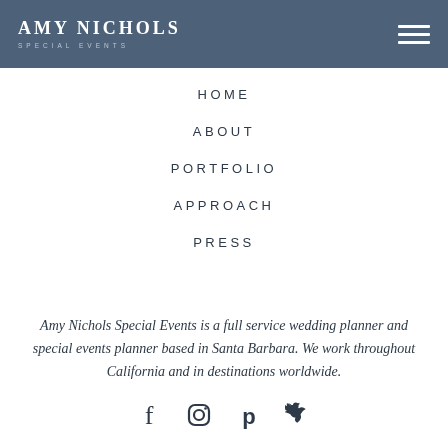AMY NICHOLS SPECIAL EVENTS
HOME
ABOUT
PORTFOLIO
APPROACH
PRESS
Amy Nichols Special Events is a full service wedding planner and special events planner based in Santa Barbara. We work throughout California and in destinations worldwide.
[Figure (illustration): Social media icons: Facebook, Instagram, Pinterest, Twitter]